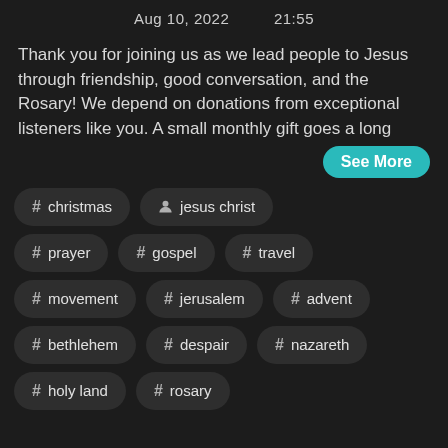Aug 10, 2022    21:55
Thank you for joining us as we lead people to Jesus through friendship, good conversation, and the Rosary! We depend on donations from exceptional listeners like you. A small monthly gift goes a long  See More
# christmas
👤 jesus christ
# prayer
# gospel
# travel
# movement
# jerusalem
# advent
# bethlehem
# despair
# nazareth
# holy land
# rosary